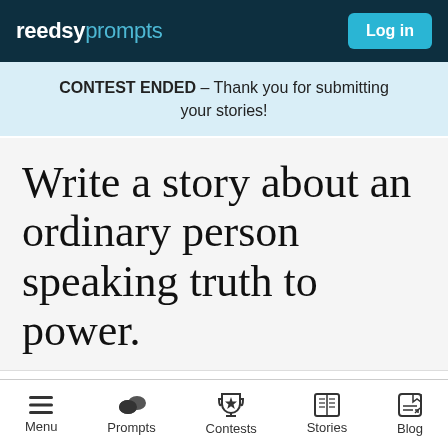reedsy prompts — Log in
CONTEST ENDED – Thank you for submitting your stories!
Write a story about an ordinary person speaking truth to power.
Posted in General on Jul 23, 2021
Submissions are closed
Menu | Prompts | Contests | Stories | Blog